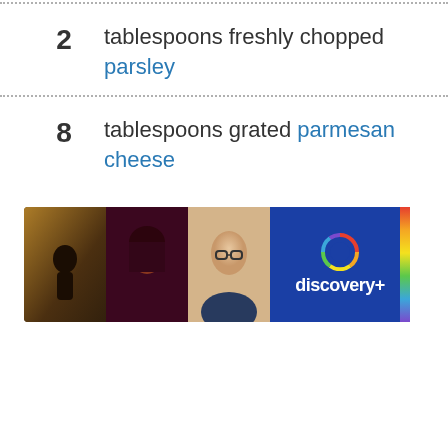2 tablespoons freshly chopped parsley
8 tablespoons grated parmesan cheese
[Figure (photo): Discovery+ advertisement banner showing three TV show images and the discovery+ logo on a blue background with a rainbow vertical bar on the right side]